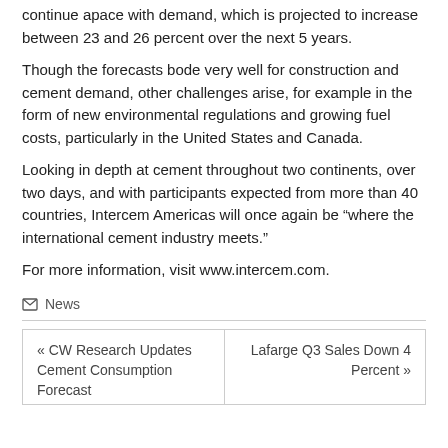continue apace with demand, which is projected to increase between 23 and 26 percent over the next 5 years.
Though the forecasts bode very well for construction and cement demand, other challenges arise, for example in the form of new environmental regulations and growing fuel costs, particularly in the United States and Canada.
Looking in depth at cement throughout two continents, over two days, and with participants expected from more than 40 countries, Intercem Americas will once again be “where the international cement industry meets.”
For more information, visit www.intercem.com.
⎗ News
« CW Research Updates Cement Consumption Forecast
Lafarge Q3 Sales Down 4 Percent »